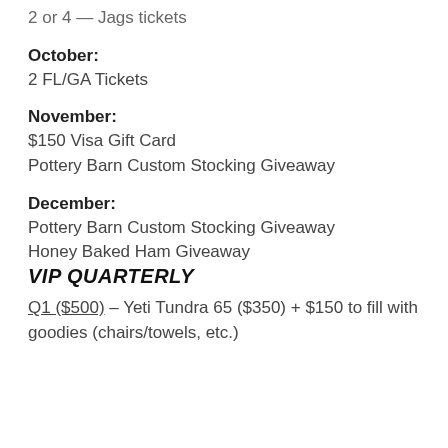September: 2 or 4 — Jags tickets
October: 2 FL/GA Tickets
November: $150 Visa Gift Card
Pottery Barn Custom Stocking Giveaway
December: Pottery Barn Custom Stocking Giveaway
Honey Baked Ham Giveaway
VIP QUARTERLY
Q1 ($500) – Yeti Tundra 65 ($350) + $150 to fill with goodies (chairs/towels, etc.)